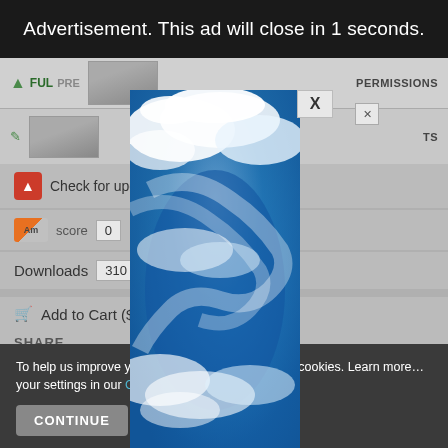Advertisement. This ad will close in 1 seconds.
[Figure (screenshot): Blurred background of a file/document download page showing toolbar with FULL PRE label, PERMISSIONS text, thumbnail image, edit icon, Check for updates button, score badge with Am and 0, Downloads row showing 310, Add to Cart ($3...) button, SHARE row]
[Figure (photo): Advertisement overlay image showing a blue sky with swirling white clouds, displayed as a tall vertical panel over the page content]
To help us improve y...his website uses cookies. Learn more...your settings in our Cookie Policy. You c...
CONTINUE
FIN...